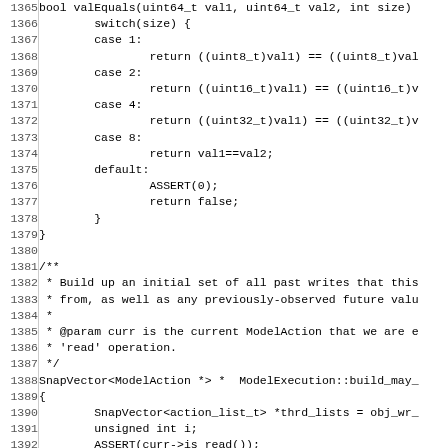[Figure (other): Source code listing showing C++ function valEquals and beginning of build_may_ function, lines 1365-1396]